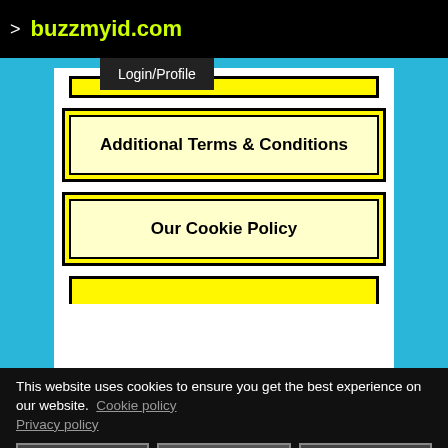> buzzmyid.com
Login/Profile
Additional Terms & Conditions
Our Cookie Policy
This website uses cookies to ensure you get the best experience on our website.  Cookie policy  Privacy policy
Decline
Allow cookies
Got it!